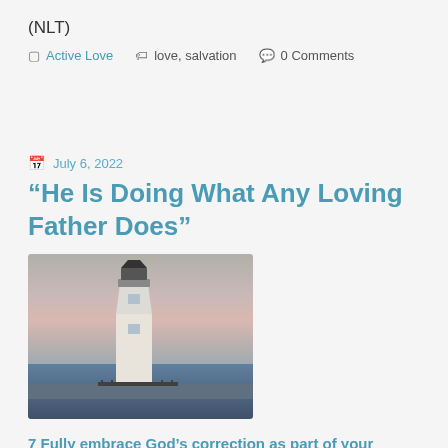(NLT)
Active Love  love, salvation  0 Comments
July 6, 2022
“He Is Doing What Any Loving Father Does”
[Figure (photo): A white lighthouse standing near water at dusk with a pinkish-purple sky]
7 Fully embrace God’s correction as part of your